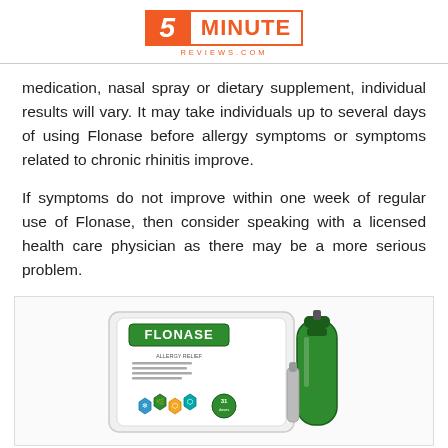5 MINUTE REVIEWS.COM
medication, nasal spray or dietary supplement, individual results will vary. It may take individuals up to several days of using Flonase before allergy symptoms or symptoms related to chronic rhinitis improve.
If symptoms do not improve within one week of regular use of Flonase, then consider speaking with a licensed health care physician as there may be a more serious problem.
[Figure (photo): Flonase nasal spray product box and bottle. The green spray bottle is visible next to its packaging which shows the Flonase logo and colorful hexagonal icons.]